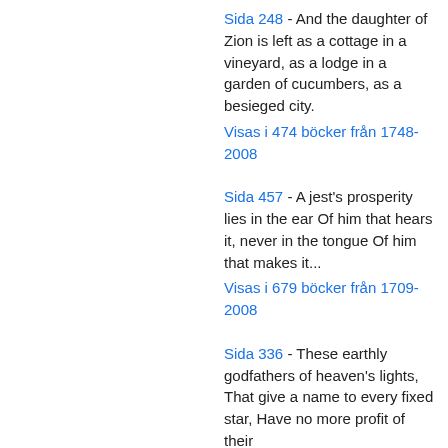Sida 248 - And the daughter of Zion is left as a cottage in a vineyard, as a lodge in a garden of cucumbers, as a besieged city. Visas i 474 böcker från 1748-2008
Sida 457 - A jest's prosperity lies in the ear Of him that hears it, never in the tongue Of him that makes it... Visas i 679 böcker från 1709-2008
Sida 336 - These earthly godfathers of heaven's lights, That give a name to every fixed star, Have no more profit of their